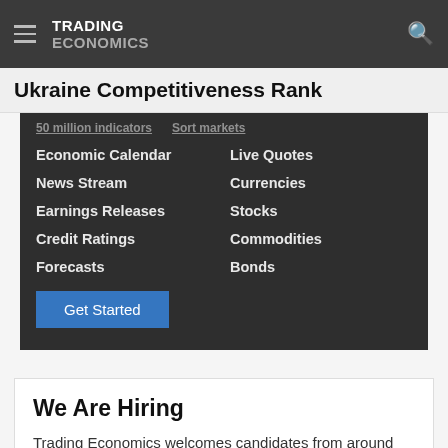TRADING ECONOMICS
Ukraine Competitiveness Rank
50 million indicators
Sort markets
Economic Calendar
Live Quotes
News Stream
Currencies
Earnings Releases
Stocks
Credit Ratings
Commodities
Forecasts
Bonds
We Are Hiring
Trading Economics welcomes candidates from around the world. Current job openings: